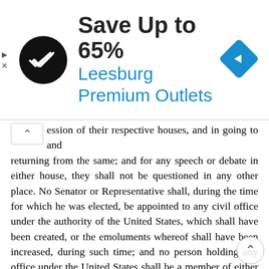[Figure (other): Advertisement banner: Save Up to 65% Leesburg Premium Outlets with logo icon and navigation diamond icon]
ession of their respective houses, and in going to and returning from the same; and for any speech or debate in either house, they shall not be questioned in any other place. No Senator or Representative shall, during the time for which he was elected, be appointed to any civil office under the authority of the United States, which shall have been created, or the emoluments whereof shall have been increased, during such time; and no person holding any office under the United States shall be a member of either house during his continuance in office. Section 7. All bills for raising revenue shall originate in the House of Representatives; but the Senate may propose or concur with amendments as on other bills. Every bill which shall have passed the House of Representatives and the Senate, shall, before it become a law, be presented to the President of the United States; if he approve he shall sign it, but if not he shall return it with objections to that house in which it originated, who shall enter the objections at